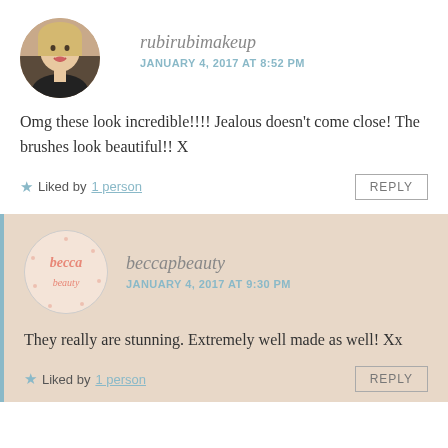[Figure (photo): Circular avatar photo of a blonde woman smiling, used as commenter profile picture for rubirubimakeup]
rubirubimakeup
JANUARY 4, 2017 AT 8:52 PM
Omg these look incredible!!!! Jealous doesn't come close! The brushes look beautiful!! X
Liked by 1 person
REPLY
[Figure (logo): Circular logo for beccapbeauty with pink handwritten text on a light background with small dots]
beccapbeauty
JANUARY 4, 2017 AT 9:30 PM
They really are stunning. Extremely well made as well! Xx
Liked by 1 person
REPLY